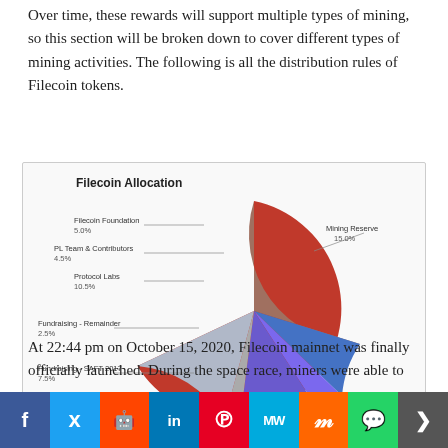Over time, these rewards will support multiple types of mining, so this section will be broken down to cover different types of mining activities. The following is all the distribution rules of Filecoin tokens.
[Figure (pie-chart): Filecoin Allocation]
At 22:44 pm on October 15, 2020, Filecoin mainnet was finally officially launched. During the space race, miners were able to
[Figure (infographic): Social media sharing bar with buttons for Facebook, Twitter, Reddit, LinkedIn, Pinterest, MeWe, Mix, WhatsApp, and Share]